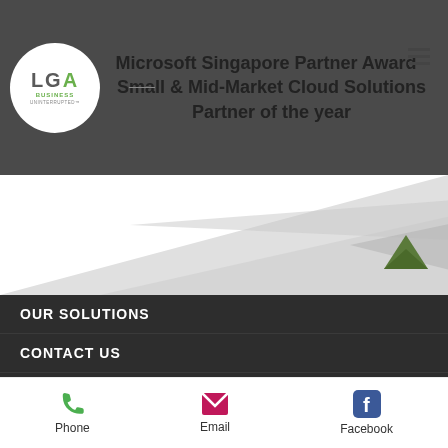[Figure (logo): LGA Business logo - circular white badge with LGA text and green accent]
Microsoft Singapore Partner Award - Small & Mid-Market Cloud Solutions Partner of the year
[Figure (illustration): Abstract geometric shapes in light grey forming a banner/ribbon design]
OUR SOLUTIONS
CONTACT US
CONNECTIVITY
SECURITY
COMPUTE
THE LGA DIFFERENCE
RESOURCES
ABOUT US
TERMS AND CONDITIONS
Phone  Email  Facebook